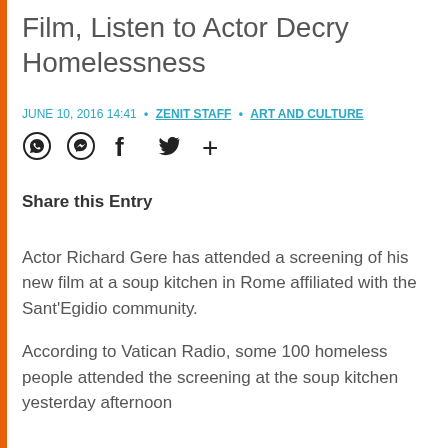Film, Listen to Actor Decry Homelessness
JUNE 10, 2016 14:41 • ZENIT STAFF • ART AND CULTURE
Share this Entry
Actor Richard Gere has attended a screening of his new film at a soup kitchen in Rome affiliated with the Sant'Egidio community.
According to Vatican Radio, some 100 homeless people attended the screening at the soup kitchen yesterday afternoon